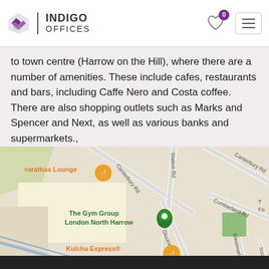Indigo Offices — Navigation header with logo, wishlist (0 items), and menu button
to town centre (Harrow on the Hill), where there are a number of amenities. These include cafes, restaurants and bars, including Caffe Nero and Costa coffee. There are also shopping outlets such as Marks and Spencer and Next, as well as various banks and supermarkets.,
[Figure (map): Google Maps view showing North Harrow area with streets including Canterbury Rd, Station Rd, Gloucester Rd, Cumberland Rd, Westmorland Rd, and A404. Points of interest include Parathas Lounge, The Gym Group London North Harrow, and Kulcha Express®.]